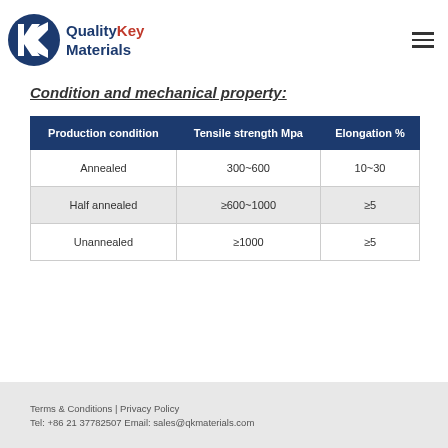[Figure (logo): QualityKey Materials logo with blue and red circular emblem and company name]
Condition and mechanical property:
| Production condition | Tensile strength Mpa | Elongation % |
| --- | --- | --- |
| Annealed | 300~600 | 10~30 |
| Half annealed | ≥600~1000 | ≥5 |
| Unannealed | ≥1000 | ≥5 |
Terms & Conditions | Privacy Policy
Tel: +86 21 37782507 Email: sales@qkmaterials.com